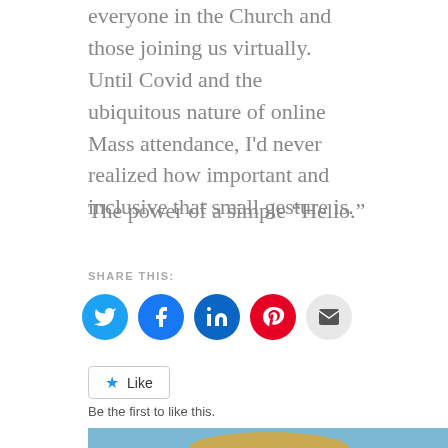everyone in the Church and those joining us virtually. Until Covid and the ubiquitous nature of online Mass attendance, I'd never realized how important and inclusive that small gesture is.
The power of a simple “Hello.”
SHARE THIS:
[Figure (infographic): Social sharing icons: Twitter (blue), Facebook (dark blue), LinkedIn (dark blue), Pinterest (red), Email (light gray)]
[Figure (infographic): Like button widget with star icon and Like label]
Be the first to like this.
[Figure (photo): Bottom portion of an image showing a golden sunburst monstrance against a blurred blue and green background]